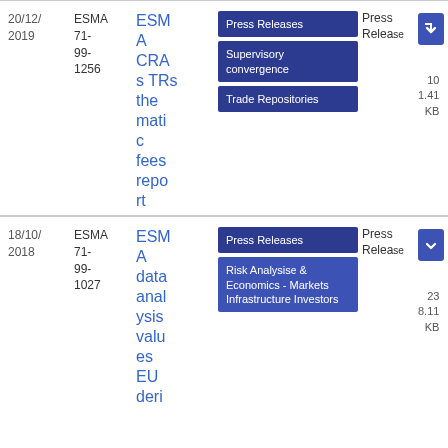| Date | Reference | Title | Tags | Type | File |
| --- | --- | --- | --- | --- | --- |
| 20/12/2019 | ESMA 71-99-1256 | ESMA CRAs TRs thematic fees report | Press Releases; Supervisory convergence; Trade Repositories | Press Release | PDF 101.41 KB |
| 18/10/2018 | ESMA 71-99-1027 | ESMA data analysis values EU deri | Press Releases; Risk Analysis & Economics - Markets Infrastructure Investors | Press Release | PDF 238.11 KB |